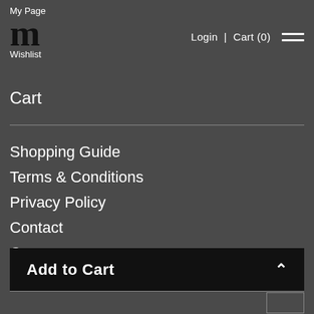My Page
[Figure (logo): Stylized 'm' logo letters in dark/black serif font]
Wishlist
Login | Cart (0)
[Figure (other): Hamburger menu icon with three horizontal lines]
Cart
Shopping Guide
Terms & Conditions
Privacy Policy
Contact
Company
Recruitment
Newsletter
Add to Cart